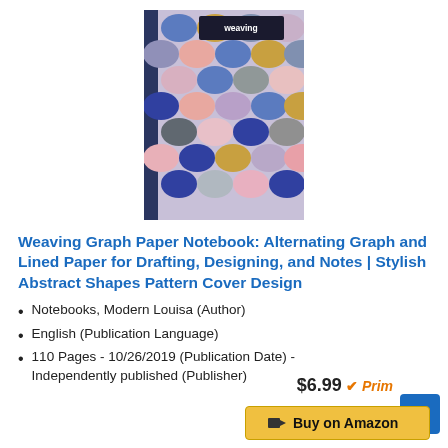[Figure (illustration): Book cover of 'Weaving Graph Paper Notebook' with a colorful abstract scallop/fan shapes pattern in blue, gold, pink, grey, and lavender colors on a dark blue spine background.]
Weaving Graph Paper Notebook: Alternating Graph and Lined Paper for Drafting, Designing, and Notes | Stylish Abstract Shapes Pattern Cover Design
Notebooks, Modern Louisa (Author)
English (Publication Language)
110 Pages - 10/26/2019 (Publication Date) - Independently published (Publisher)
$6.99 ✓Prime
Buy on Amazon